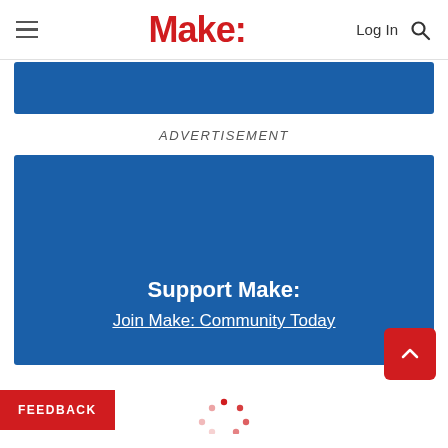Make: — Log In [search]
[Figure (other): Blue banner bar at the top of the content area]
ADVERTISEMENT
[Figure (other): Blue advertisement block with text: Support Make: Join Make: Community Today]
FEEDBACK
[Figure (other): Loading spinner dots at the bottom center]